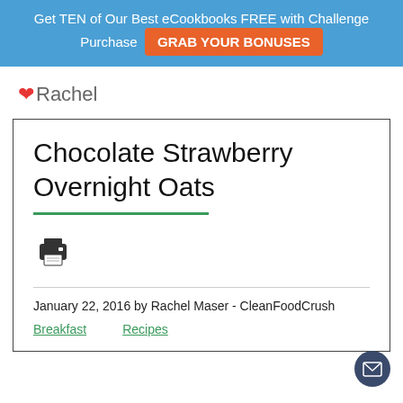Get TEN of Our Best eCookbooks FREE with Challenge Purchase  GRAB YOUR BONUSES
❤Rachel
Chocolate Strawberry Overnight Oats
[Figure (other): Print icon button]
January 22, 2016 by Rachel Maser - CleanFoodCrush
Breakfast   Recipes